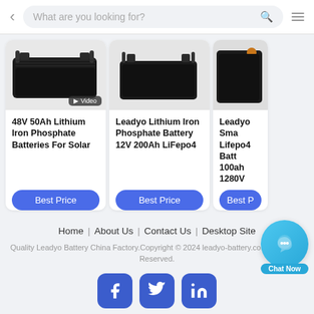What are you looking for?
[Figure (photo): Product card 1: 48V 50Ah Lithium Iron Phosphate Batteries For Solar - black battery with video badge]
48V 50Ah Lithium Iron Phosphate Batteries For Solar
Best Price
[Figure (photo): Product card 2: Leadyo Lithium Iron Phosphate Battery 12V 200Ah LiFepo4 - black battery]
Leadyo Lithium Iron Phosphate Battery 12V 200Ah LiFepo4
Best Price
[Figure (photo): Product card 3 (partially visible): Leadyo Sma Lifepo4 Batt 100ah 1280W]
Leadyo Sma Lifepo4 Batt 100ah 1280V
Best P
Home | About Us | Contact Us | Desktop Site
Quality Leadyo Battery China Factory.Copyright © 2024 leadyo-battery.com. All Rights Reserved.